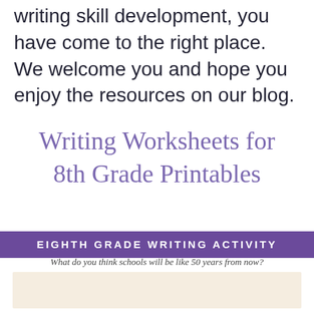writing skill development, you have come to the right place. We welcome you and hope you enjoy the resources on our blog.
Writing Worksheets for 8th Grade Printables
EIGHTH GRADE WRITING ACTIVITY
What do you think schools will be like 50 years from now?
[Figure (other): Blank lined writing area with beige background for student response]